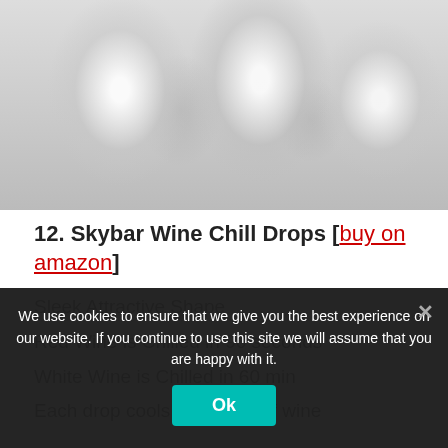[Figure (photo): Close-up photo of ice cubes with a shiny, glossy appearance on a light gray background]
12. Skybar Wine Chill Drops [buy on amazon]
Sleek Attractive Shape
Red Wine is Chilled in 90 seconds
White Wine is Chilled in 60 min
Each drop cools 2 glasses of wine
We use cookies to ensure that we give you the best experience on our website. If you continue to use this site we will assume that you are happy with it.